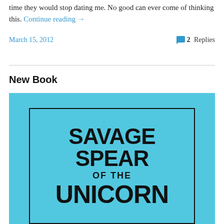time they would stop dating me. No good can ever come of thinking this. Continue reading →
March 15, 2012   2 Replies
New Book
[Figure (illustration): Book cover for 'Savage Spear of the Unicorn' — light blue background with black bold uppercase text and a rectangular border frame.]